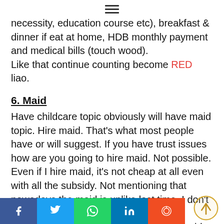≡
necessity, education course etc), breakfast & dinner if eat at home, HDB monthly payment and medical bills (touch wood).
Like that continue counting become RED liao.
6. Maid
Have childcare topic obviously will have maid topic. Hire maid. That's what most people have or will suggest. If you have trust issues how are you going to hire maid. Not possible.
Even if I hire maid, it's not cheap at all even with all the subsidy. Not mentioning that nowadays the maid is unlike last time. I don't want to count my blessing. Only if I'm a SAHM or WAHM, yes I will consider a maid because at least some one is around to ensure our kids safety.